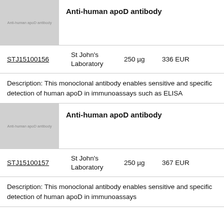[Figure (photo): Product image placeholder for Anti-human apoD antibody, gray box with watermark text]
Anti-human apoD antibody
| ID | Supplier | Quantity | Price |
| --- | --- | --- | --- |
| STJ15100156 | St John's Laboratory | 250 µg | 336 EUR |
Description: This monoclonal antibody enables sensitive and specific detection of human apoD in immunoassays such as ELISA
[Figure (photo): Product image placeholder for Anti-human apoD antibody, gray box with watermark text]
Anti-human apoD antibody
| ID | Supplier | Quantity | Price |
| --- | --- | --- | --- |
| STJ15100157 | St John's Laboratory | 250 µg | 367 EUR |
Description: This monoclonal antibody enables sensitive and specific detection of human apoD in immunoassays